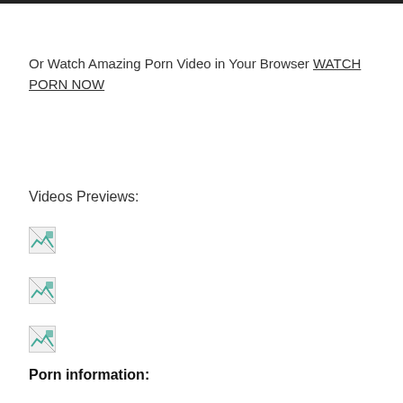Or Watch Amazing Porn Video in Your Browser WATCH PORN NOW
Videos Previews:
[Figure (other): Broken image placeholder 1]
[Figure (other): Broken image placeholder 2]
[Figure (other): Broken image placeholder 3]
Porn information: